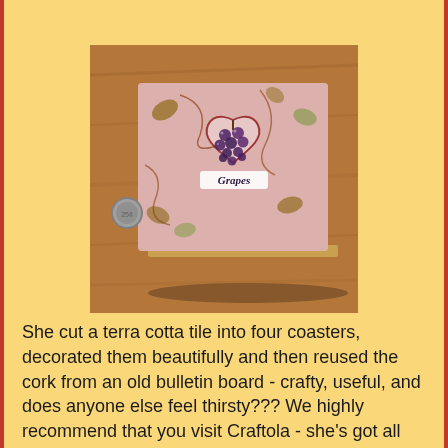[Figure (photo): A decorative terra cotta tile coaster with a grape vine design and the word 'Grapes' on it, sitting on a wooden surface. A coin is placed next to it for scale.]
She cut a terra cotta tile into four coasters, decorated them beautifully and then reused the cork from an old bulletin board - crafty, useful, and does anyone else feel thirsty??? We highly recommend that you visit Craftola - she's got all